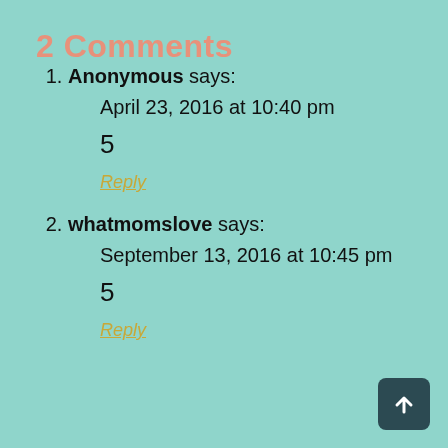2 Comments
Anonymous says:
April 23, 2016 at 10:40 pm
5
Reply
whatmomslove says:
September 13, 2016 at 10:45 pm
5
Reply